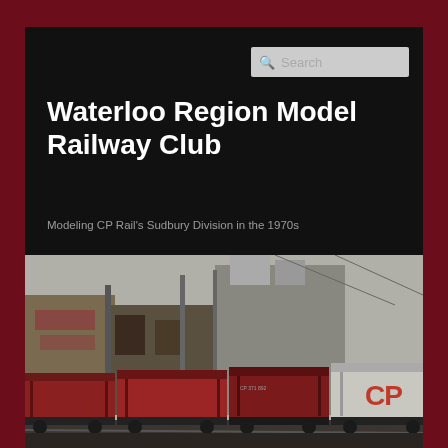Waterloo Region Model Railway Club
Modeling CP Rail's Sudbury Division in the 1970s
[Figure (photo): Photograph of CP Rail freight cars (open-top gondola/hopper cars in red) at an industrial facility with structures and equipment in the background. 'CP' lettering visible on a car at right.]
Home
Membership
Layout
Operations
Photo Gallery
Open House
Calendar
Links
Blog